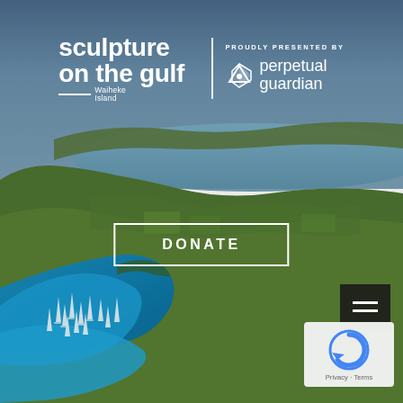[Figure (photo): Aerial photograph of Waiheke Island, New Zealand, showing turquoise water with sailboats, green rolling hills, vineyards, and coastline under a blue sky.]
sculpture on the gulf Waiheke Island
PROUDLY PRESENTED BY perpetual guardian
DONATE
[Figure (other): reCAPTCHA widget - Privacy · Terms]